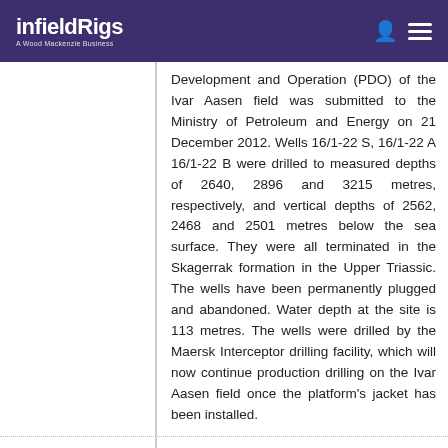infieldRigs — A Wood Mackenzie Business
Development and Operation (PDO) of the Ivar Aasen field was submitted to the Ministry of Petroleum and Energy on 21 December 2012. Wells 16/1-22 S, 16/1-22 A 16/1-22 B were drilled to measured depths of 2640, 2896 and 3215 metres, respectively, and vertical depths of 2562, 2468 and 2501 metres below the sea surface. They were all terminated in the Skagerrak formation in the Upper Triassic. The wells have been permanently plugged and abandoned. Water depth at the site is 113 metres. The wells were drilled by the Maersk Interceptor drilling facility, which will now continue production drilling on the Ivar Aasen field once the platform's jacket has been installed.
Otto Energy to mobilise 'Maersk Venturer' towards end of July
2
Jul
2015
Otto Energy Ltd (“Otto”) is pleased to announce it has issued Maersk Drilling with formal notice in